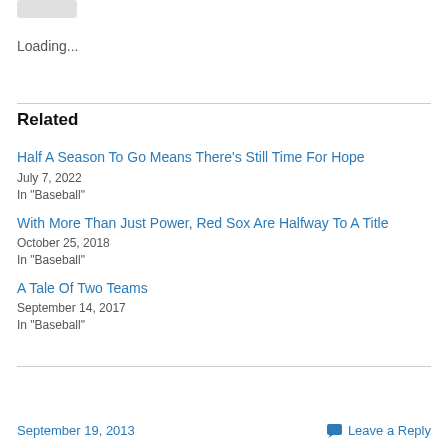[Figure (other): Small grey rounded rectangle button/image placeholder at top left]
Loading...
Related
Half A Season To Go Means There’s Still Time For Hope
July 7, 2022
In “Baseball”
With More Than Just Power, Red Sox Are Halfway To A Title
October 25, 2018
In “Baseball”
A Tale Of Two Teams
September 14, 2017
In “Baseball”
September 19, 2013    Leave a Reply